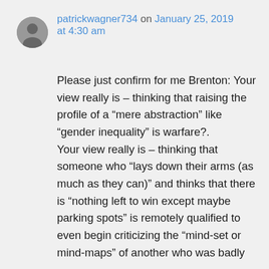[Figure (photo): Circular avatar image of user patrickwagner734, grayscale photo]
patrickwagner734 on January 25, 2019 at 4:30 am
Please just confirm for me Brenton: Your view really is – thinking that raising the profile of a “mere abstraction” like “gender inequality” is warfare?.
Your view really is – thinking that someone who “lays down their arms (as much as they can)” and thinks that there is “nothing left to win except maybe parking spots” is remotely qualified to even begin criticizing the “mind-set or mind-maps” of another who was badly